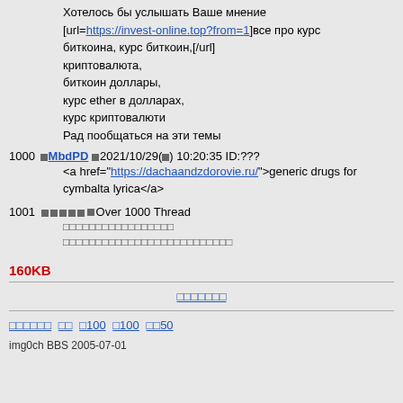Хотелось бы услышать Ваше мнение [url=https://invest-online.top?from=1]все про курс биткоина, курс биткоин,[/url] криптовалюта, биткоин доллары, курс ether в долларах, курс криптовалюти Рад пообщаться на эти темы
1000 □MbdPD □2021/10/29(□) 10:20:35 ID:??? <a href="https://dachaandzdorovie.ru/">generic drugs for cymbalta lyrica</a>
1001 □□□□□ □Over 1000 Thread [garbled lines]
160KB
[navigation center link: garbled]
[nav links: garbled] [] []100 []100 []50
img0ch BBS 2005-07-01